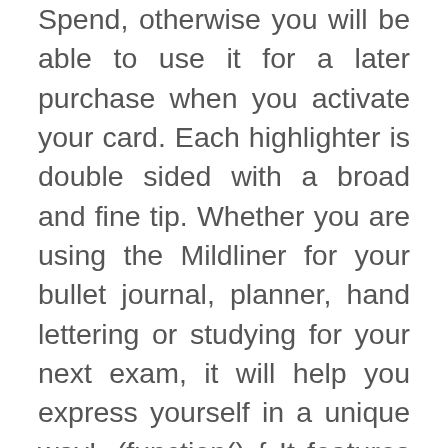Spend, otherwise you will be able to use it for a later purchase when you activate your card. Each highlighter is double sided with a broad and fine tip. Whether you are using the Mildliner for your bullet journal, planner, hand lettering or studying for your next exam, it will help you express yourself in a unique way!. (function() { It features water-based ink and a convenient double-sided design—a standard chisel tip on one end for normal highlighting and a fine bullet tip on the other for underlining, circling, and writing notes. ZEBRA MILDLINER Highlighter pen markers, 2-Pack (WKT7-N-5C / … We use